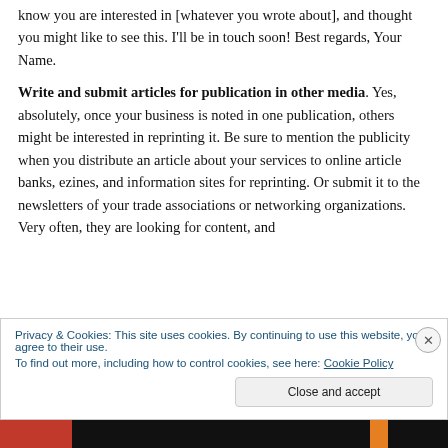know you are interested in [whatever you wrote about], and thought you might like to see this. I'll be in touch soon! Best regards, Your Name.
Write and submit articles for publication in other media. Yes, absolutely, once your business is noted in one publication, others might be interested in reprinting it. Be sure to mention the publicity when you distribute an article about your services to online article banks, ezines, and information sites for reprinting. Or submit it to the newsletters of your trade associations or networking organizations. Very often, they are looking for content, and
Privacy & Cookies: This site uses cookies. By continuing to use this website, you agree to their use.
To find out more, including how to control cookies, see here: Cookie Policy